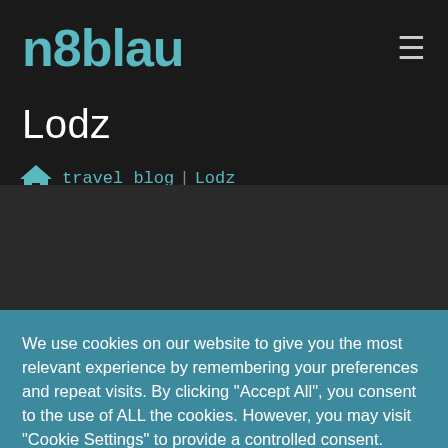n8blau
Lodz
🏠 travel blog / Lodz
We use cookies on our website to give you the most relevant experience by remembering your preferences and repeat visits. By clicking "Accept All", you consent to the use of ALL the cookies. However, you may visit "Cookie Settings" to provide a controlled consent.
Cookie Settings | Accept All